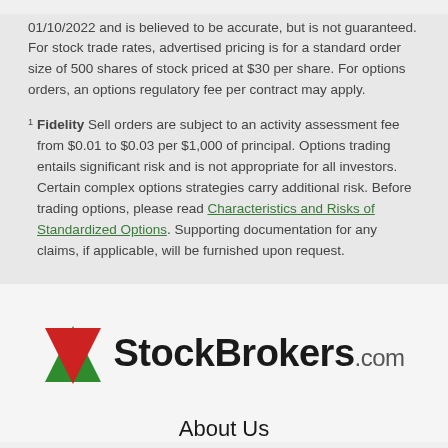01/10/2022 and is believed to be accurate, but is not guaranteed. For stock trade rates, advertised pricing is for a standard order size of 500 shares of stock priced at $30 per share. For options orders, an options regulatory fee per contract may apply.
1 Fidelity Sell orders are subject to an activity assessment fee from $0.01 to $0.03 per $1,000 of principal. Options trading entails significant risk and is not appropriate for all investors. Certain complex options strategies carry additional risk. Before trading options, please read Characteristics and Risks of Standardized Options. Supporting documentation for any claims, if applicable, will be furnished upon request.
[Figure (logo): StockBrokers.com logo with green upward arrow and red downward arrow]
About Us